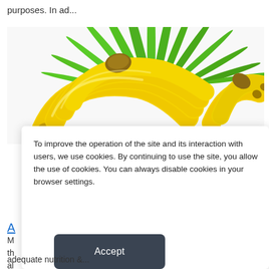purposes. In ad...
[Figure (photo): Photo of yellow bananas with green palm leaves in the background on a white background.]
To improve the operation of the site and its interaction with users, we use cookies. By continuing to use the site, you allow the use of cookies. You can always disable cookies in your browser settings.
A
M
th
al
Accept
adequate nutrition &...